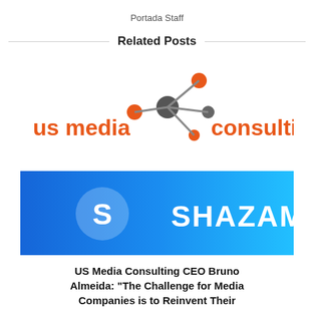Portada Staff
Related Posts
[Figure (logo): US Media Consulting logo with orange network icon and text, combined with Shazam logo on blue gradient background]
US Media Consulting CEO Bruno Almeida: "The Challenge for Media Companies is to Reinvent Their